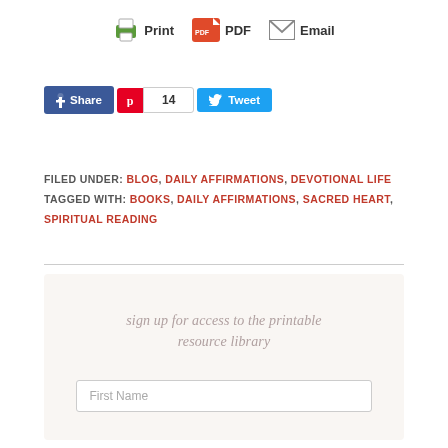Print   PDF   Email
Share   14   Tweet
FILED UNDER: BLOG, DAILY AFFIRMATIONS, DEVOTIONAL LIFE  TAGGED WITH: BOOKS, DAILY AFFIRMATIONS, SACRED HEART, SPIRITUAL READING
sign up for access to the printable resource library
First Name